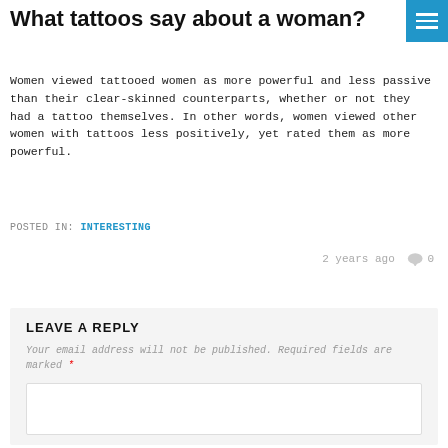What tattoos say about a woman?
Women viewed tattooed women as more powerful and less passive than their clear-skinned counterparts, whether or not they had a tattoo themselves. In other words, women viewed other women with tattoos less positively, yet rated them as more powerful.
POSTED IN: INTERESTING
2 years ago  🗨 0
LEAVE A REPLY
Your email address will not be published. Required fields are marked *